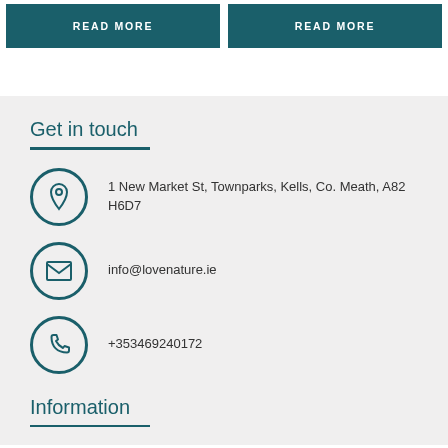READ MORE
READ MORE
Get in touch
1 New Market St, Townparks, Kells, Co. Meath, A82 H6D7
info@lovenature.ie
+353469240172
Information